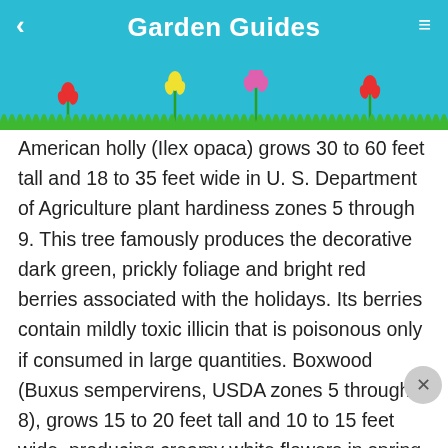Garden Guides
[Figure (illustration): Decorative header with teal background, colorful tulip flowers, green grass silhouette, and a small white rabbit illustration]
American holly (Ilex opaca) grows 30 to 60 feet tall and 18 to 35 feet wide in U. S. Department of Agriculture plant hardiness zones 5 through 9. This tree famously produces the decorative dark green, prickly foliage and bright red berries associated with the holidays. Its berries contain mildly toxic illicin that is poisonous only if consumed in large quantities. Boxwood (Buxus sempervirens, USDA zones 5 through 8), grows 15 to 20 feet tall and 10 to 15 feet wide, producing creamy white flowers in spring. Lustrous dark green boxwood leaves are yellowish green to light green on their bottoms and may turn orange green in winter. Its steroidal alkaloids will cause skin irritation and are mildly toxic if eaten. Forida catus zones 5 through